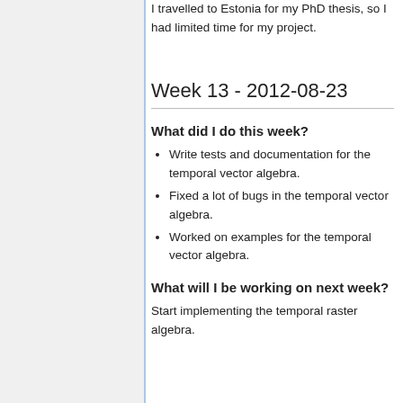I travelled to Estonia for my PhD thesis, so I had limited time for my project.
Week 13 - 2012-08-23
What did I do this week?
Write tests and documentation for the temporal vector algebra.
Fixed a lot of bugs in the temporal vector algebra.
Worked on examples for the temporal vector algebra.
What will I be working on next week?
Start implementing the temporal raster algebra.